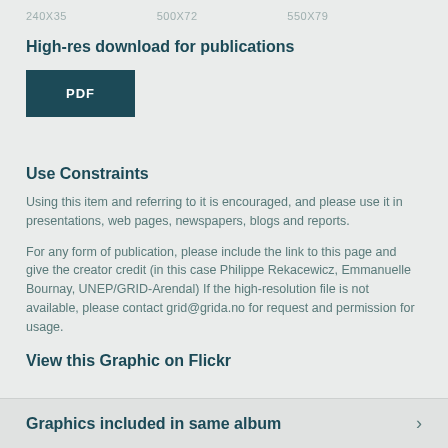240X35   500X72   550X79
High-res download for publications
[Figure (other): PDF button - dark teal rectangle with white bold text reading PDF]
Use Constraints
Using this item and referring to it is encouraged, and please use it in presentations, web pages, newspapers, blogs and reports.
For any form of publication, please include the link to this page and give the creator credit (in this case Philippe Rekacewicz, Emmanuelle Bournay, UNEP/GRID-Arendal) If the high-resolution file is not available, please contact grid@grida.no for request and permission for usage.
View this Graphic on Flickr
Graphics included in same album